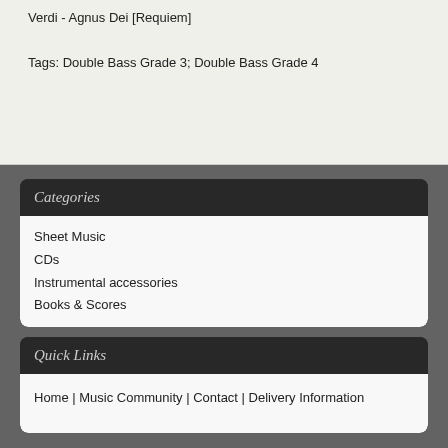Verdi - Agnus Dei [Requiem]
Tags: Double Bass Grade 3; Double Bass Grade 4
Categories
Sheet Music
CDs
Instrumental accessories
Books & Scores
Quick Links
Home | Music Community | Contact | Delivery Information